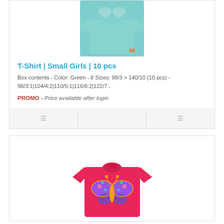[Figure (photo): Green children's t-shirt with butterfly design on a light teal background, partially visible at top of page]
T-Shirt | Small Girls | 10 pcs
Box contents - Color: Green - 8 Sizes: 98/3 > 140/10 (10 pcs) - 98/3:1|104/4:2|110/5:1|116/6:2|122/7..
PROMO - Price available after login
[Figure (photo): Hot pink/fuchsia children's t-shirt with colorful butterfly graphic design, shown on white background]